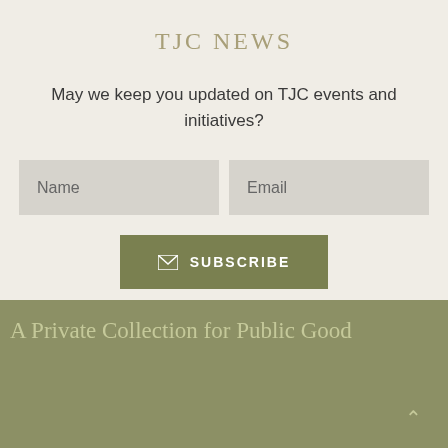TJC NEWS
May we keep you updated on TJC events and initiatives?
Name
Email
SUBSCRIBE
A Private Collection for Public Good